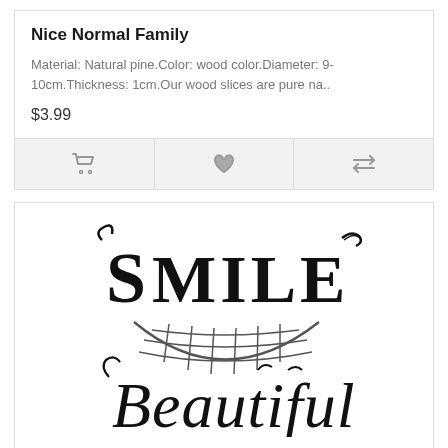Nice Normal Family
Material: Natural pine.Color: wood color.Diameter: 9-10cm.Thickness: 1cm.Our wood slices are pure na..
$3.99
[Figure (illustration): Decorative illustration of the text 'SMILE Beautiful' with stylized lettering and a smiling mouth/teeth graphic in the center]
Smile Beautiful